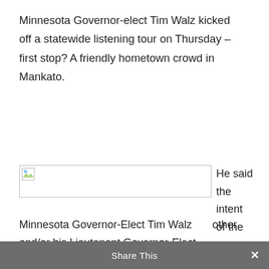Minnesota Governor-elect Tim Walz kicked off a statewide listening tour on Thursday – first stop? A friendly hometown crowd in Mankato.
[Figure (photo): Broken image placeholder (image failed to load)]
He said the intent of the event, and those in other
Minnesota Governor-Elect Tim Walz and/or his Lieutenant Governor-Elect Peggy Flanagan will make stops throughout Minnesota
Share This ×